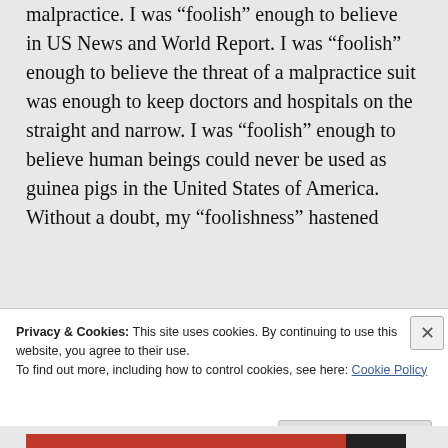malpractice. I was “foolish” enough to believe in US News and World Report. I was “foolish” enough to believe the threat of a malpractice suit was enough to keep doctors and hospitals on the straight and narrow. I was “foolish” enough to believe human beings could never be used as guinea pigs in the United States of America. Without a doubt, my “foolishness” hastened
Privacy & Cookies: This site uses cookies. By continuing to use this website, you agree to their use.
To find out more, including how to control cookies, see here: Cookie Policy